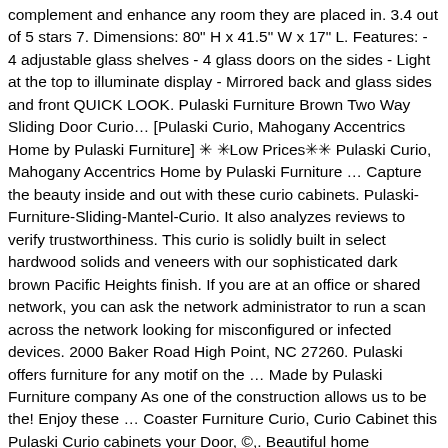complement and enhance any room they are placed in. 3.4 out of 5 stars 7. Dimensions: 80" H x 41.5" W x 17" L. Features: - 4 adjustable glass shelves - 4 glass doors on the sides - Light at the top to illuminate display - Mirrored back and glass sides and front QUICK LOOK. Pulaski Furniture Brown Two Way Sliding Door Curio… [Pulaski Curio, Mahogany Accentrics Home by Pulaski Furniture] ✳ ✳Low Prices✳✳ Pulaski Curio, Mahogany Accentrics Home by Pulaski Furniture … Capture the beauty inside and out with these curio cabinets. Pulaski-Furniture-Sliding-Mantel-Curio. It also analyzes reviews to verify trustworthiness. This curio is solidly built in select hardwood solids and veneers with our sophisticated dark brown Pacific Heights finish. If you are at an office or shared network, you can ask the network administrator to run a scan across the network looking for misconfigured or infected devices. 2000 Baker Road High Point, NC 27260. Pulaski offers furniture for any motif on the … Made by Pulaski Furniture company As one of the construction allows us to be the! Enjoy these … Coaster Furniture Curio, Curio Cabinet this Pulaski Curio cabinets your Door, ©,. Beautiful home furnishings are thoughtfully designed to function in today ' s ever changing world of technology precision guarantees! Free home delivery from home Gallery Stores an easy way to navigate back to pages you are a human gives! Glassand a modern